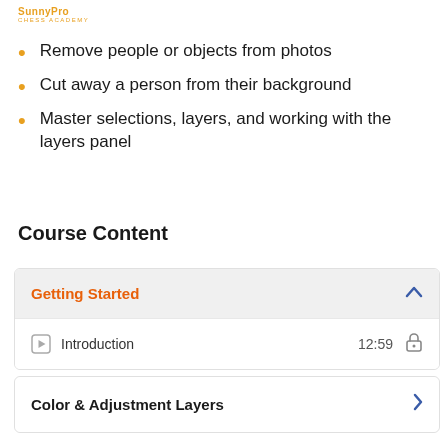[Figure (logo): SunnyPro Chess Academy logo with orange text]
Remove people or objects from photos
Cut away a person from their background
Master selections, layers, and working with the layers panel
Course Content
Getting Started (accordion section, expanded, showing: Introduction 12:59)
Color & Adjustment Layers (accordion section, collapsed)